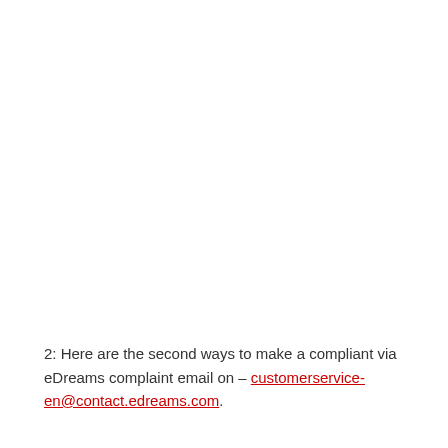2: Here are the second ways to make a compliant via eDreams complaint email on – customerservice-en@contact.edreams.com.